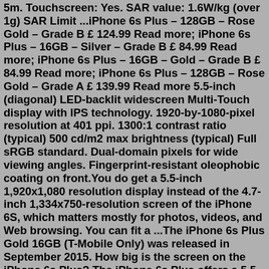5m. Touchscreen: Yes. SAR value: 1.6W/kg (over 1g) SAR Limit ...iPhone 6s Plus – 128GB – Rose Gold – Grade B £ 124.99 Read more; iPhone 6s Plus – 16GB – Silver – Grade B £ 84.99 Read more; iPhone 6s Plus – 16GB – Gold – Grade B £ 84.99 Read more; iPhone 6s Plus – 128GB – Rose Gold – Grade A £ 139.99 Read more 5.5-inch (diagonal) LED-backlit widescreen Multi-Touch display with IPS technology. 1920-by-1080-pixel resolution at 401 ppi. 1300:1 contrast ratio (typical) 500 cd/m2 max brightness (typical) Full sRGB standard. Dual-domain pixels for wide viewing angles. Fingerprint-resistant oleophobic coating on front.You do get a 5.5-inch 1,920x1,080 resolution display instead of the 4.7-inch 1,334x750-resolution screen of the iPhone 6S, which matters mostly for photos, videos, and Web browsing. You can fit a ...The iPhone 6s Plus Gold 16GB (T-Mobile Only) was released in September 2015. How big is the screen on the iPhone 6s Plus? The iPhone 6s Plus offers a 5.5 display!Apple iPhone 6S Plus (128GB) Gold Brand Apple Model iPhone 6s Plus Warranty 6 Month Seller